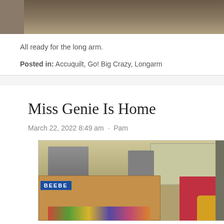[Figure (photo): Top portion of a photo showing a wooden floor, partially cropped at the top of the page.]
All ready for the long arm.
Posted in: Accuquilt, Go! Big Crazy, Longarm
Miss Genie Is Home
March 22, 2022 8:49 am  ·  Pam
[Figure (photo): A cluttered room with boxes, bins, sewing machines, and quilting supplies. A blue BEEBE sign is visible on a box, and a red Husqvarna sewing machine box is visible on the right side.]